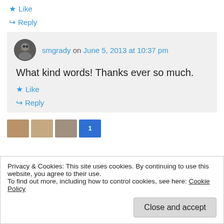★ Like
↪ Reply
smgrady on June 5, 2013 at 10:37 pm
What kind words! Thanks ever so much.
★ Like
↪ Reply
Privacy & Cookies: This site uses cookies. By continuing to use this website, you agree to their use.
To find out more, including how to control cookies, see here: Cookie Policy
Close and accept